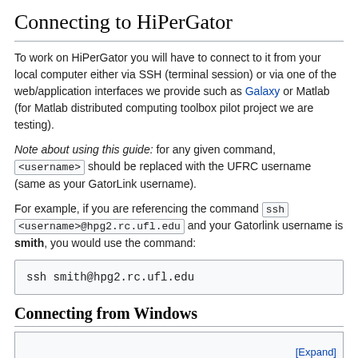Connecting to HiPerGator
To work on HiPerGator you will have to connect to it from your local computer either via SSH (terminal session) or via one of the web/application interfaces we provide such as Galaxy or Matlab (for Matlab distributed computing toolbox pilot project we are testing).
Note about using this guide: for any given command, <username> should be replaced with the UFRC username (same as your GatorLink username).
For example, if you are referencing the command ssh <username>@hpg2.rc.ufl.edu and your Gatorlink username is smith, you would use the command:
ssh smith@hpg2.rc.ufl.edu
Connecting from Windows
[Expand]